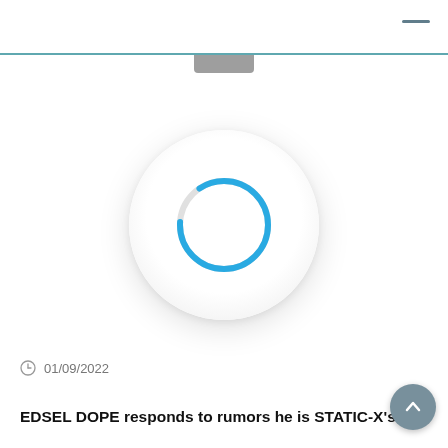[Figure (other): Loading spinner: a circular blue arc (progress indicator) centered on a white circular card with shadow, indicating a page loading state]
01/09/2022
EDSEL DOPE responds to rumors he is STATIC-X's si…